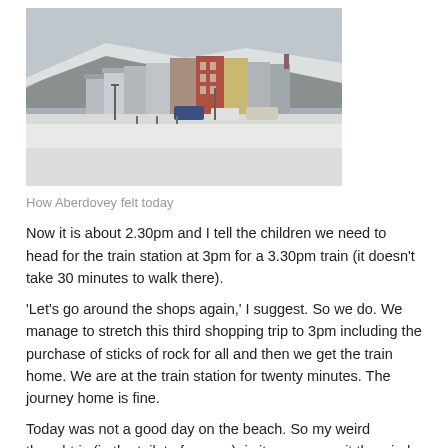[Figure (photo): A snowy coastal town scene showing a row of colourful multi-storey buildings along a seafront, with snow covering the ground, cars parked, and a hillside in the background under an overcast grey sky.]
How Aberdovey felt today
Now it is about 2.30pm and I tell the children we need to head for the train station at 3pm for a 3.30pm train (it doesn't take 30 minutes to walk there).
'Let's go around the shops again,' I suggest. So we do. We manage to stretch this third shopping trip to 3pm including the purchase of sticks of rock for all and then we get the train home. We are at the train station for twenty minutes. The journey home is fine.
Today was not a good day on the beach. So my weird thought is (in the toilet of course), is it me, or was it the wind, or are all those other people on Facebook who claim to be having a fantastic family